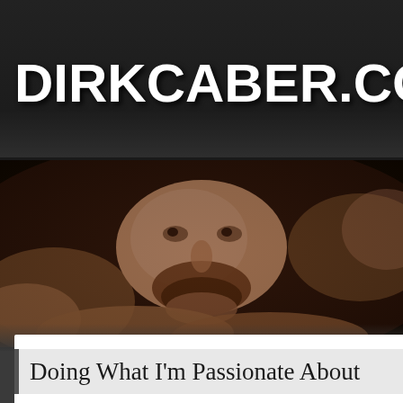DIRKCABER.COM
[Figure (photo): A shirtless bearded man lying down, looking at the camera with a serious expression, in dramatic dark lighting with warm tones]
Doing What I'm Passionate About
Dirk / September 1, 2015 / 14 comments
[Figure (photo): Partial bottom image strip, appears to show another photo, partially visible]